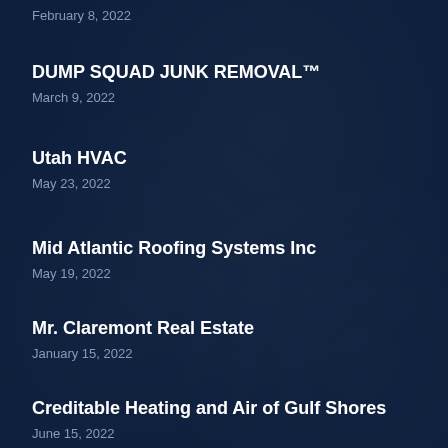February 8, 2022
DUMP SQUAD JUNK REMOVAL™
March 9, 2022
Utah HVAC
May 23, 2022
Mid Atlantic Roofing Systems Inc
May 19, 2022
Mr. Claremont Real Estate
January 15, 2022
Creditable Heating and Air of Gulf Shores
June 15, 2022